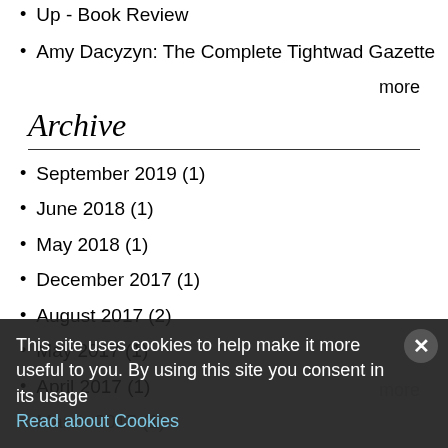Up - Book Review
Amy Dacyzyn: The Complete Tightwad Gazette
more
Archive
September 2019 (1)
June 2018 (1)
May 2018 (1)
December 2017 (1)
August 2017 (2)
May 2017 (1)
April 2017 (1)
March 2017 (1)
February 2017 (1)
January 2017 (1)
more
This site uses cookies to help make it more useful to you. By using this site you consent in its usage Read about Cookies